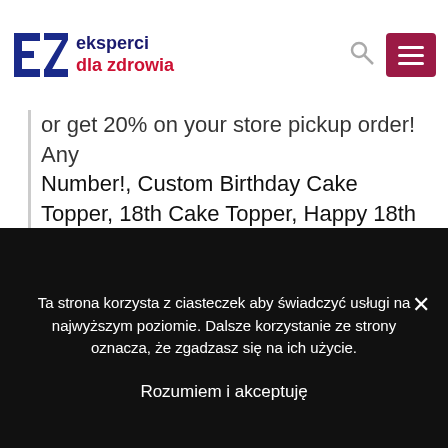[Figure (logo): EZ eksperci dla zdrowia logo with stylized E and Z letters in blue/red, with text 'eksperci dla zdrowia']
or get 20% on your store pickup order! Any Number!, Custom Birthday Cake Topper, 18th Cake Topper, Happy 18th Birthday Topper, Any number, personalized 18th birthday decorations Party14ByBELLA. You can order with confidence! Say happy birthday with a cake that they'll never forget! £12. Perfect for any occasion! SpongeBob Whats Funnier 24 Edible Image Cake Topper Personalized Birthday Sheet Decoration Custom Party Frosting Transfer Fondant Round Circle. Whip up your favorite
Ta strona korzysta z ciasteczek aby świadczyć usługi na najwyższym poziomie. Dalsze korzystanie ze strony oznacza, że zgadzasz się na ich użycie.
Rozumiem i akceptuję